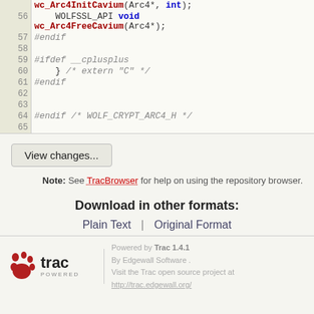[Figure (screenshot): Code viewer showing lines 56-65 of a C header file with syntax highlighting. Line 56: WOLFSSL_API void wc_Arc4FreeCavium(Arc4*); Line 57: #endif, Line 58: blank, Line 59: #ifdef __cplusplus, Line 60: } /* extern 'C' */, Line 61: #endif, Line 62: blank, Line 63: blank, Line 64: #endif /* WOLF_CRYPT_ARC4_H */, Line 65: blank]
View changes...
Note: See TracBrowser for help on using the repository browser.
Download in other formats:
Plain Text | Original Format
Powered by Trac 1.4.1 By Edgewall Software. Visit the Trac open source project at http://trac.edgewall.org/